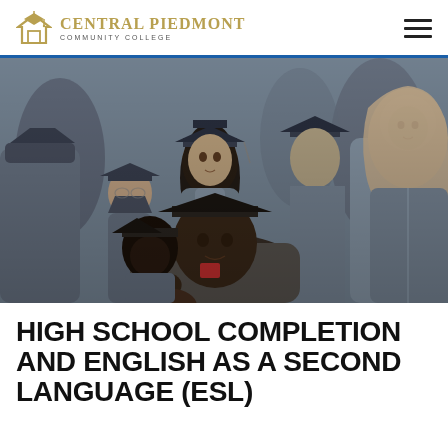Central Piedmont Community College
[Figure (photo): A group of diverse college graduates wearing gray caps and gowns at a graduation ceremony. One woman in the center has long dark hair, another on the right is wearing a hijab. A man in the foreground is clapping. Others are visible in the background.]
HIGH SCHOOL COMPLETION AND ENGLISH AS A SECOND LANGUAGE (ESL)